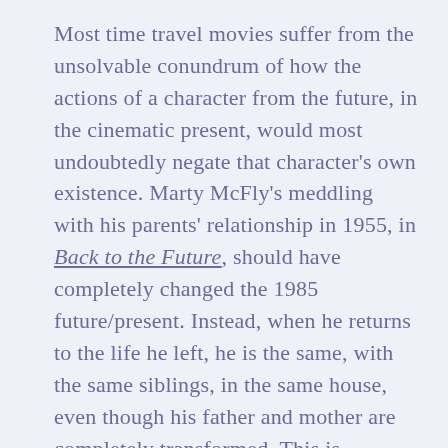Most time travel movies suffer from the unsolvable conundrum of how the actions of a character from the future, in the cinematic present, would most undoubtedly negate that character's own existence. Marty McFly's meddling with his parents' relationship in 1955, in Back to the Future, should have completely changed the 1985 future/present. Instead, when he returns to the life he left, he is the same, with the same siblings, in the same house, even though his father and mother are completely transformed. This is unlikely – if not virtually impossible – yet we go along with it because we have had such a good time watching a superbly crafted movie that wins us over with its humor, drama and suspense.
Rian Johnson's terrific Looper, falls into this kind of category. Its plot does not hold up to close